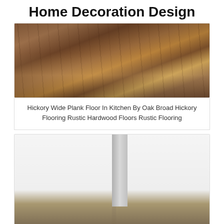Home Decoration Design
[Figure (photo): Hickory wide plank hardwood floor in a kitchen with wooden bar stools and island visible in background]
Hickory Wide Plank Floor In Kitchen By Oak Broad Hickory Flooring Rustic Hardwood Floors Rustic Flooring
[Figure (photo): White kitchen cabinets with silver handles and dark gray hardwood flooring, with stainless steel dishwasher visible]